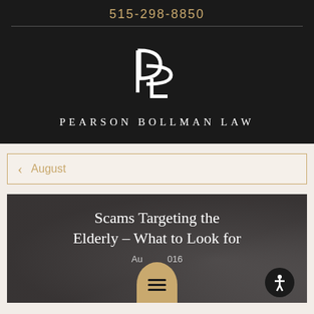515-298-8850
[Figure (logo): Pearson Bollman Law PB monogram logo in white on dark background]
PEARSON BOLLMAN LAW
August
[Figure (photo): Dark background photo with silhouettes of people, overlaid with article title 'Scams Targeting the Elderly – What to Look for' and date 'August 2016']
Scams Targeting the Elderly – What to Look for
August 2016